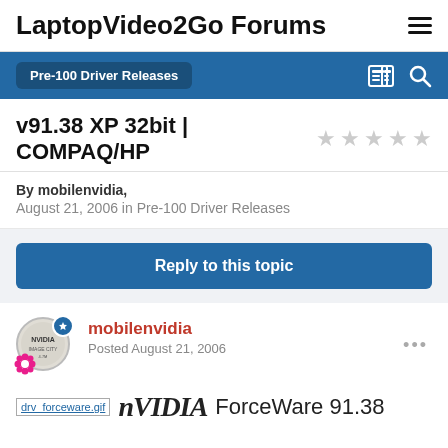LaptopVideo2Go Forums
Pre-100 Driver Releases
v91.38 XP 32bit | COMPAQ/HP
By mobilenvidia, August 21, 2006 in Pre-100 Driver Releases
Reply to this topic
mobilenvidia
Posted August 21, 2006
nVIDIA ForceWare 91.38